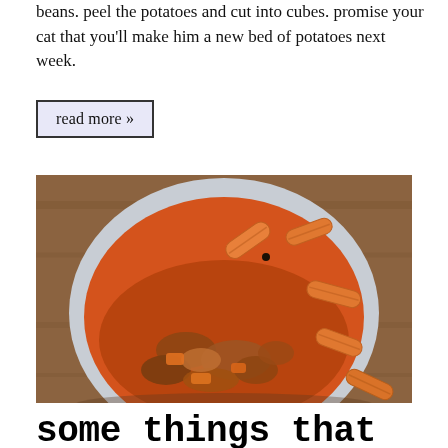beans. peel the potatoes and cut into cubes. promise your cat that you'll make him a new bed of potatoes next week.
read more »
[Figure (photo): A bowl of penne pasta with a chunky orange-brown meat and vegetable sauce, photographed from above on a wooden surface.]
some things that are helping me get